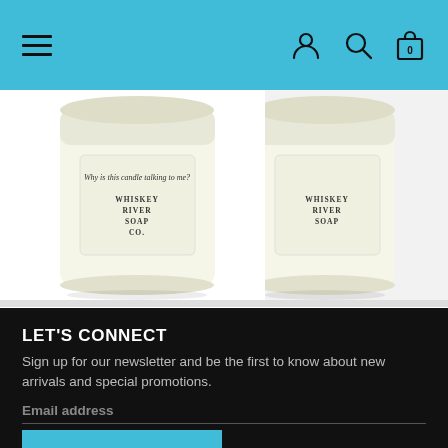Navigation bar with hamburger menu, user icon, search icon, and cart icon
[Figure (photo): Whiskey River Soap Co candle jar with text label, light green/cream colored candle]
WHISKEY RIVER CO - WTF Candles
$6.99 $11.99
[Figure (photo): Partial view of another Whiskey River candle product on the right side]
WHISKEY RIVE Ca $5.9
LET'S CONNECT
Sign up for our newsletter and be the first to know about new arrivals and special promotions.
Email address